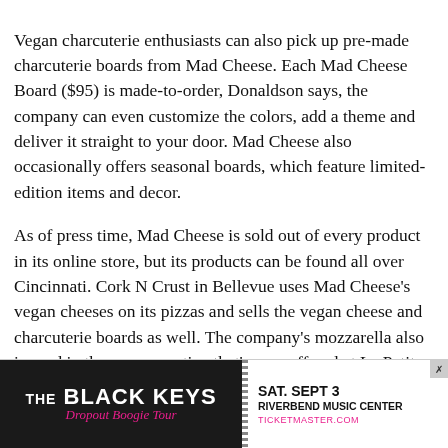Vegan charcuterie enthusiasts can also pick up pre-made charcuterie boards from Mad Cheese. Each Mad Cheese Board ($95) is made-to-order, Donaldson says, the company can even customize the colors, add a theme and deliver it straight to your door. Mad Cheese also occasionally offers seasonal boards, which feature limited-edition items and decor.
As of press time, Mad Cheese is sold out of every product in its online store, but its products can be found all over Cincinnati. Cork N Crust in Bellevue uses Mad Cheese's vegan cheeses on its pizzas and sells the vegan cheese and charcuterie boards as well. The company's mozzarella also is used in the vegan poutine that's now offered at La Petite Frite in Oakley Kitchen Food Hall.
Additionally, Mad Cheese products are available at Roasted...
[Figure (other): Advertisement banner for The Black Keys Dropout Boogie Tour, Saturday September 3 at Riverbend Music Center, ticketmaster.com]